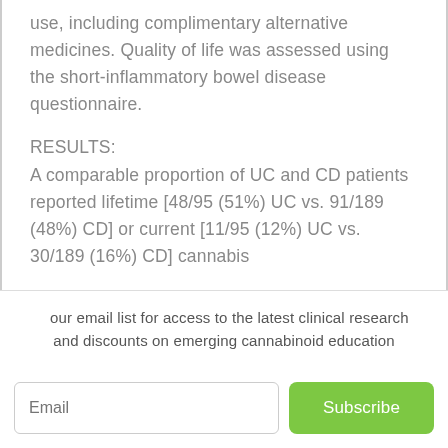use, including complimentary alternative medicines. Quality of life was assessed using the short-inflammatory bowel disease questionnaire.
RESULTS:
A comparable proportion of UC and CD patients reported lifetime [48/95 (51%) UC vs. 91/189 (48%) CD] or current [11/95 (12%) UC vs. 30/189 (16%) CD] cannabis
J our email list for access to the latest clinical research and discounts on emerging cannabinoid education